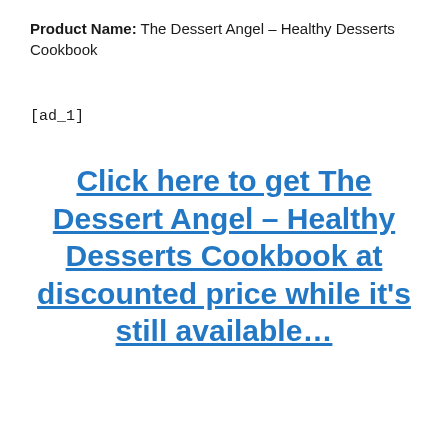Product Name: The Dessert Angel – Healthy Desserts Cookbook
[ad_1]
Click here to get The Dessert Angel – Healthy Desserts Cookbook at discounted price while it's still available…